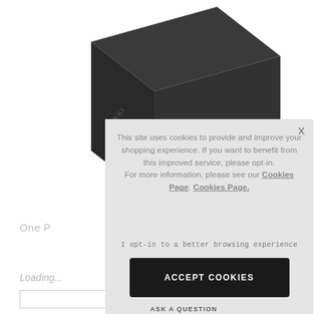[Figure (photo): Dark grey/black box-shaped product (OKKI brand) on white background, photographed from a slightly elevated angle showing top and front faces]
One P
Loading...
[Figure (screenshot): Cookie consent overlay popup with grey background containing cookie notice text, opt-in link, and ACCEPT COOKIES button]
ASK A QUESTION